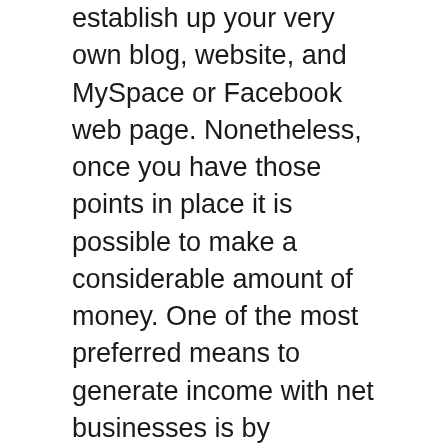establish up your very own blog, website, and MySpace or Facebook web page. Nonetheless, once you have those points in place it is possible to make a considerable amount of money. One of the most preferred means to generate income with net businesses is by advertising items.
Freelancing is one more fantastic instance of an organization chance that does not need a preliminary financial investment of money or time. Freelancers are independent developers, developers, developers, etc. that can supply various sorts of solutions for little costs? Some consultants function as freelance developers on web sites and offer fundamental coding solutions. Others use self-employed customer support assistance,